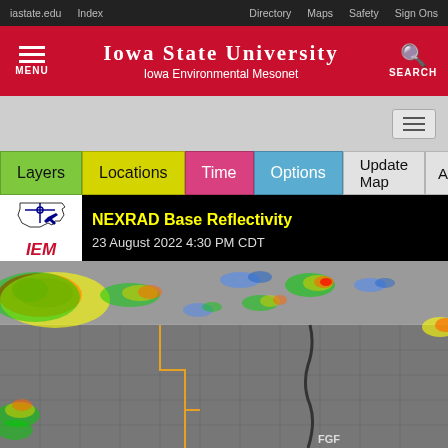iastate.edu   Index   Directory   Maps   Safety   Sign Ons
IOWA STATE UNIVERSITY Iowa Environmental Mesonet
[Figure (screenshot): Iowa State University Iowa Environmental Mesonet website header with red background, menu button on left and search button on right]
[Figure (map): NEXRAD Base Reflectivity radar map dated 23 August 2022 4:30 PM CDT showing storm cells across the Iowa/North Dakota region with colored reflectivity returns (green, yellow, red) overlaid on a gray county map. IEM logo visible in upper left. Label FGF visible near bottom center-right.]
NEXRAD Base Reflectivity
23 August 2022  4:30 PM CDT